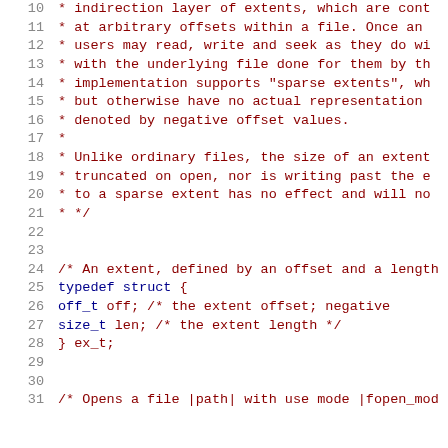Source code listing lines 10-31, showing C struct definition and comments about extent-based file abstraction layer.